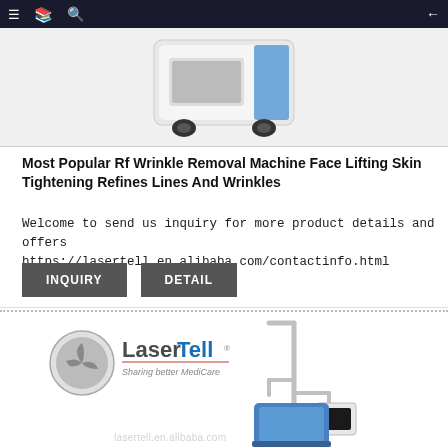Navigation bar with menu, bookmark, search icons and back arrow
[Figure (photo): Top portion of an RF wrinkle removal machine on light gray background, showing the upper white and blue body with black wheels]
Most Popular Rf Wrinkle Removal Machine Face Lifting Skin Tightening Refines Lines And Wrinkles
Welcome to send us inquiry for more product details and offers
https://lasertell.en.alibaba.com/contactinfo.html
[Figure (illustration): LaserTell logo with circular icon and text 'Sharing better MediCare', alongside a medical laser machine with articulated arm and screen panel on blue base, with watermark lasertell.en.alibaba.com]